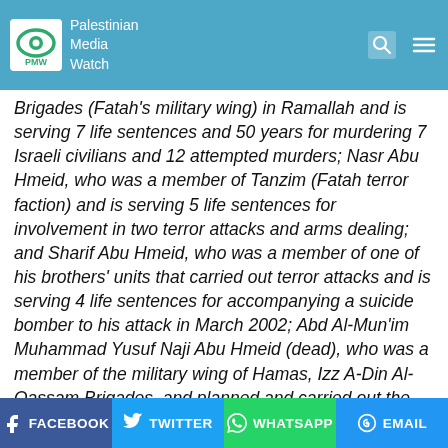Palestinian Media Watch
Brigades (Fatah's military wing) in Ramallah and is serving 7 life sentences and 50 years for murdering 7 Israeli civilians and 12 attempted murders; Nasr Abu Hmeid, who was a member of Tanzim (Fatah terror faction) and is serving 5 life sentences for involvement in two terror attacks and arms dealing; and Sharif Abu Hmeid, who was a member of one of his brothers' units that carried out terror attacks and is serving 4 life sentences for accompanying a suicide bomber to his attack in March 2002; Abd Al-Mun'im Muhammad Yusuf Naji Abu Hmeid (dead), who was a member of the military wing of Hamas, Izz A-Din Al-Qassam Brigades, and planned and carried out the ambush and murder of Israeli
FACEBOOK  TWITTER  WHATSAPP  EMAIL